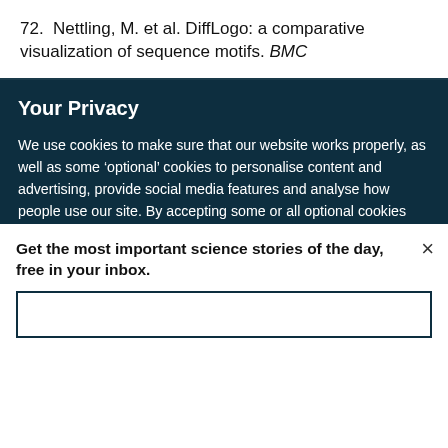72. Nettling, M. et al. DiffLogo: a comparative visualization of sequence motifs. BMC
Your Privacy
We use cookies to make sure that our website works properly, as well as some ‘optional’ cookies to personalise content and advertising, provide social media features and analyse how people use our site. By accepting some or all optional cookies you give consent to the processing of your personal data, including transfer to third parties, some in countries outside of the European Economic Area that do not offer the same data protection standards as the country where you live. You can decide which optional cookies to accept by clicking on ‘Manage Settings’, where you can
Get the most important science stories of the day, free in your inbox.
Sign up for Nature Briefing